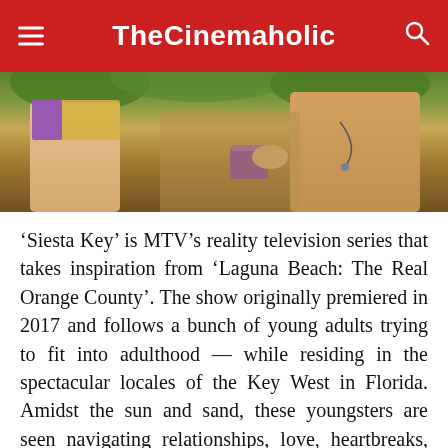TheCinemaholic
[Figure (photo): Two people outdoors near a pool or beach setting, one holding a purple cup, partial torsos visible]
'Siesta Key' is MTV's reality television series that takes inspiration from 'Laguna Beach: The Real Orange County'. The show originally premiered in 2017 and follows a bunch of young adults trying to fit into adulthood — while residing in the spectacular locales of the Key West in Florida. Amidst the sun and sand, these youngsters are seen navigating relationships, love, heartbreaks, and friendships. Across the three seasons that